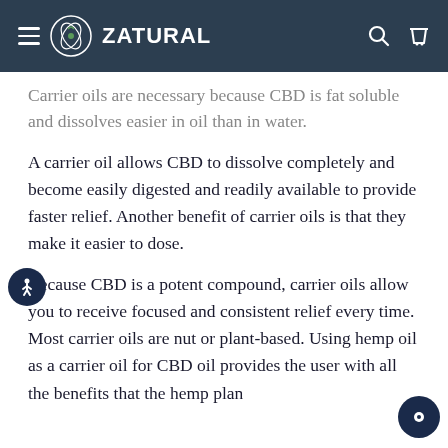ZATURAL
Carrier oils are necessary because CBD is fat soluble and dissolves easier in oil than in water.
A carrier oil allows CBD to dissolve completely and become easily digested and readily available to provide faster relief. Another benefit of carrier oils is that they make it easier to dose.
Because CBD is a potent compound, carrier oils allow you to receive focused and consistent relief every time. Most carrier oils are nut or plant-based. Using hemp oil as a carrier oil for CBD oil provides the user with all the benefits that the hemp plan